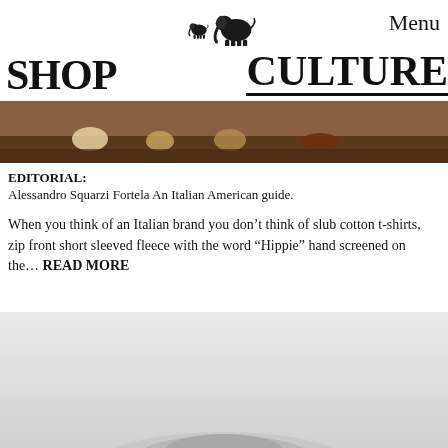Menu
[Figure (logo): Two elephants silhouette logo — a small and large elephant]
SHOP   CULTURE
[Figure (photo): Dark wood interior scene with bowls or objects on a surface]
EDITORIAL:
Alessandro Squarzi Fortela An Italian American guide.
When you think of an Italian brand you don't think of slub cotton t-shirts, zip front short sleeved fleece with the word “Hippie” hand screened on the... READ MORE
[Figure (photo): Light gray background with the top of a hat visible at the bottom]